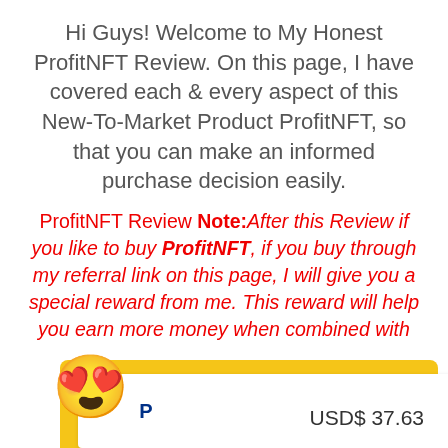Hi Guys! Welcome to My Honest ProfitNFT Review. On this page, I have covered each & every aspect of this New-To-Market Product ProfitNFT, so that you can make an informed purchase decision easily.
ProfitNFT Review Note:After this Review if you like to buy ProfitNFT, if you buy through my referral link on this page, I will give you a special reward from me. This reward will help you earn more money when combined with ProfitNFT you can stroll down below to check it out.
[Figure (screenshot): Bottom portion showing a heart-eyes emoji and a PayPal payment card with amount USD$ 37.63, with yellow/gold card background partially visible]